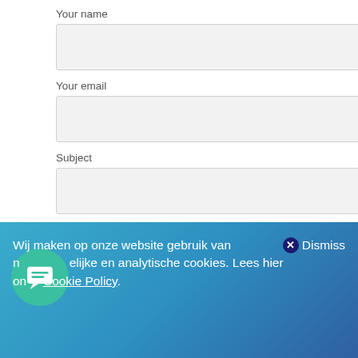Your name
[Figure (screenshot): Empty text input field for 'Your name']
Your email
[Figure (screenshot): Empty text input field for 'Your email']
Subject
[Figure (screenshot): Empty text input field for 'Subject']
Your message (optional)
[Figure (screenshot): Empty text area for 'Your message (optional)']
Wij maken op onze website gebruik van noodzakelijke en analytische cookies. Lees hier onze Cookie Policy.
Dismiss